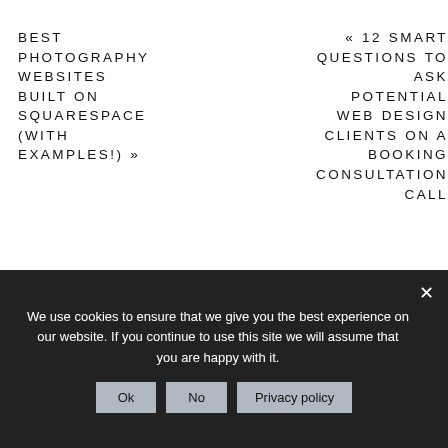BEST PHOTOGRAPHY WEBSITES BUILT ON SQUARESPACE (WITH EXAMPLES!) »
« 12 SMART QUESTIONS TO ASK POTENTIAL WEB DESIGN CLIENTS ON A BOOKING CONSULTATION CALL
We use cookies to ensure that we give you the best experience on our website. If you continue to use this site we will assume that you are happy with it.